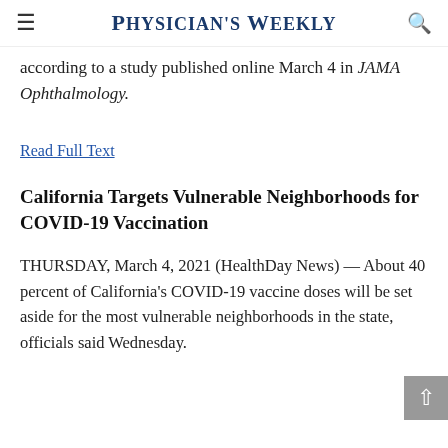Physician's Weekly
according to a study published online March 4 in JAMA Ophthalmology.
Read Full Text
California Targets Vulnerable Neighborhoods for COVID-19 Vaccination
THURSDAY, March 4, 2021 (HealthDay News) — About 40 percent of California's COVID-19 vaccine doses will be set aside for the most vulnerable neighborhoods in the state, officials said Wednesday.